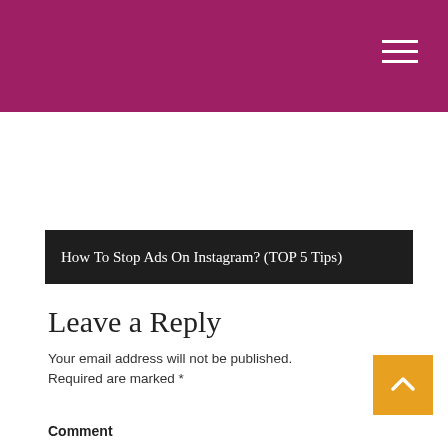How To Stop Ads On Instagram? (TOP 5 Tips)
Leave a Reply
Your email address will not be published. Required are marked *
Comment